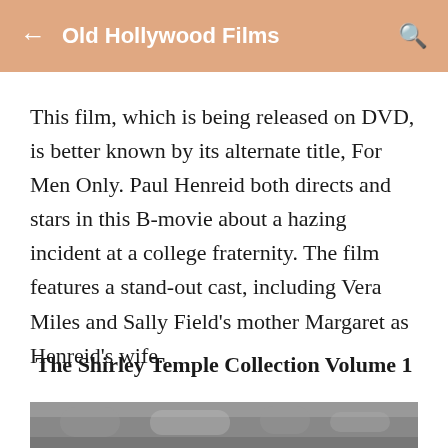Old Hollywood Films
This film, which is being released on DVD, is better known by its alternate title, For Men Only. Paul Henreid both directs and stars in this B-movie about a hazing incident at a college fraternity. The film features a stand-out cast, including Vera Miles and Sally Field's mother Margaret as Henreid's wife.
The Shirley Temple Collection Volume 1
[Figure (photo): Black and white photo partially visible at the bottom of the page]